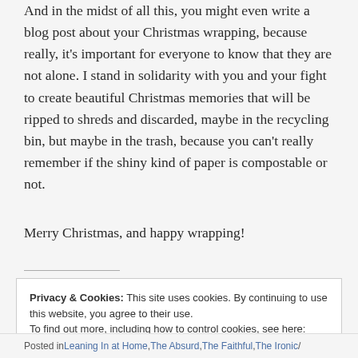And in the midst of all this, you might even write a blog post about your Christmas wrapping, because really, it's important for everyone to know that they are not alone. I stand in solidarity with you and your fight to create beautiful Christmas memories that will be ripped to shreds and discarded, maybe in the recycling bin, but maybe in the trash, because you can't really remember if the shiny kind of paper is compostable or not.
Merry Christmas, and happy wrapping!
Privacy & Cookies: This site uses cookies. By continuing to use this website, you agree to their use. To find out more, including how to control cookies, see here: Cookie Policy
Posted in Leaning In at Home, The Absurd, The Faithful, The Ironic /